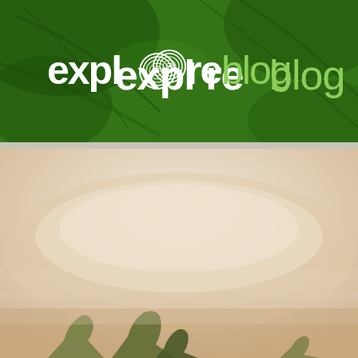[Figure (logo): exploreblog logo on dark green textured background with leaf/foliage pattern. The word 'explore' appears in white bold text with a circular fingerprint/labyrinth icon replacing the 'o', and 'blog' appears in light green regular weight text.]
[Figure (photo): Sepia/tan toned photograph showing desert or arid landscape with rock formations or figures emerging from sandy haze at the bottom of the image. The upper portion fades to a light beige/cream background.]